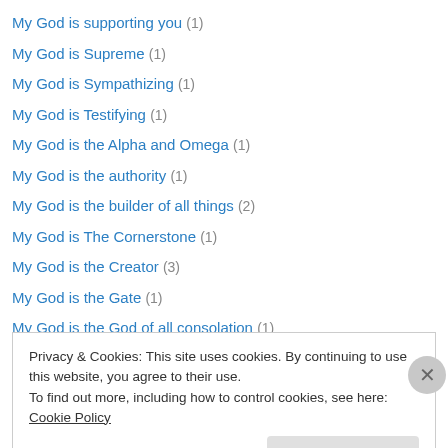My God is supporting you (1)
My God is Supreme (1)
My God is Sympathizing (1)
My God is Testifying (1)
My God is the Alpha and Omega (1)
My God is the authority (1)
My God is the builder of all things (2)
My God is The Cornerstone (1)
My God is the Creator (3)
My God is the Gate (1)
My God is the God of all consolation (1)
My God is The God of Power and Might (2)
My God is the Lamb (1)
Privacy & Cookies: This site uses cookies. By continuing to use this website, you agree to their use. To find out more, including how to control cookies, see here: Cookie Policy
Close and accept